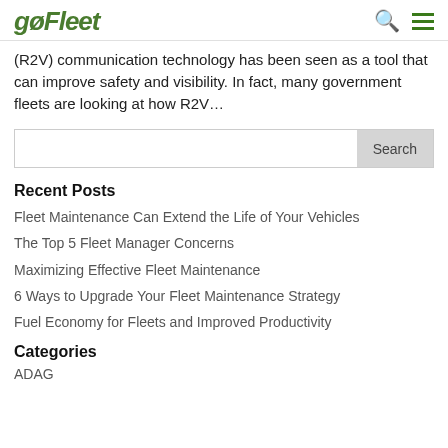gofleet
(R2V) communication technology has been seen as a tool that can improve safety and visibility. In fact, many government fleets are looking at how R2V...
Recent Posts
Fleet Maintenance Can Extend the Life of Your Vehicles
The Top 5 Fleet Manager Concerns
Maximizing Effective Fleet Maintenance
6 Ways to Upgrade Your Fleet Maintenance Strategy
Fuel Economy for Fleets and Improved Productivity
Categories
ADAG